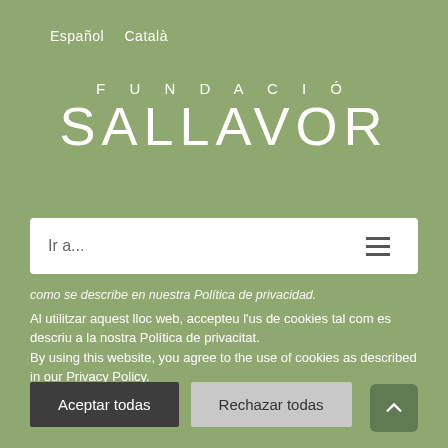Español   Català
FUNDACIÓ
SALLAVOR
Ir a...
como se describe en nuestra Política de privacidad.
Al utilitzar aquest lloc web, accepteu l'us de cookies tal com es descriu a la nostra Política de privacitat.
By using this website, you agree to the use of cookies as described in our Privacy Policy.
Aceptar todas
Rechazar todas